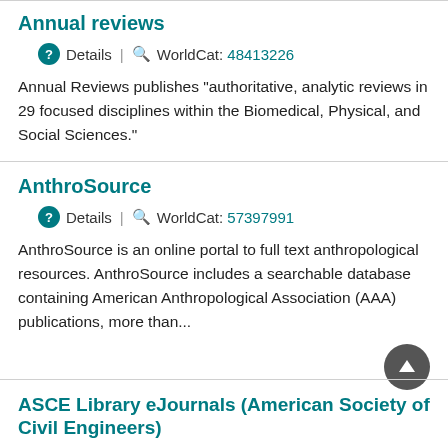Annual reviews
Details | WorldCat: 48413226
Annual Reviews publishes "authoritative, analytic reviews in 29 focused disciplines within the Biomedical, Physical, and Social Sciences."
AnthroSource
Details | WorldCat: 57397991
AnthroSource is an online portal to full text anthropological resources. AnthroSource includes a searchable database containing American Anthropological Association (AAA) publications, more than...
ASCE Library eJournals (American Society of Civil Engineers)